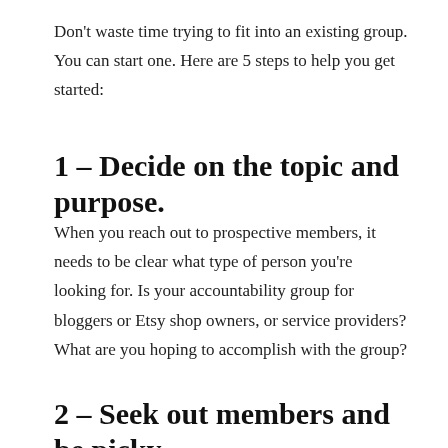Don't waste time trying to fit into an existing group. You can start one. Here are 5 steps to help you get started:
1 – Decide on the topic and purpose.
When you reach out to prospective members, it needs to be clear what type of person you're looking for. Is your accountability group for bloggers or Etsy shop owners, or service providers? What are you hoping to accomplish with the group?
2 – Seek out members and be picky.